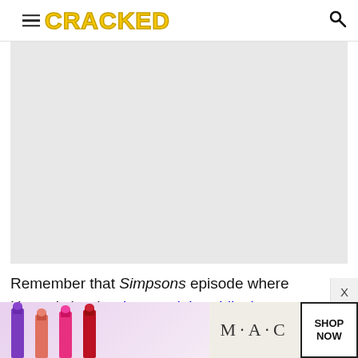CRACKED
[Figure (photo): Large light gray image placeholder rectangle]
Remember that Simpsons episode where Homer's brother invented that ridiculous device that could
[Figure (infographic): MAC cosmetics advertisement banner showing lipsticks with SHOP NOW button]